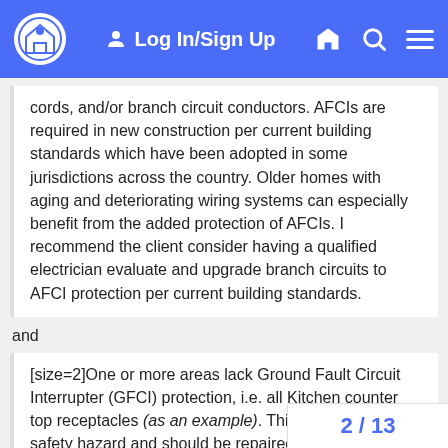Log In/Sign Up
cords, and/or branch circuit conductors. AFCIs are required in new construction per current building standards which have been adopted in some jurisdictions across the country. Older homes with aging and deteriorating wiring systems can especially benefit from the added protection of AFCIs. I recommend the client consider having a qualified electrician evaluate and upgrade branch circuits to AFCI protection per current building standards.
and
[size=2]One or more areas lack Ground Fault Circuit Interrupter (GFCI) protection, i.e. all Kitchen counter top receptacles (as an example). This is a recognized safety hazard and should be repaired.
[/size]
2 / 13